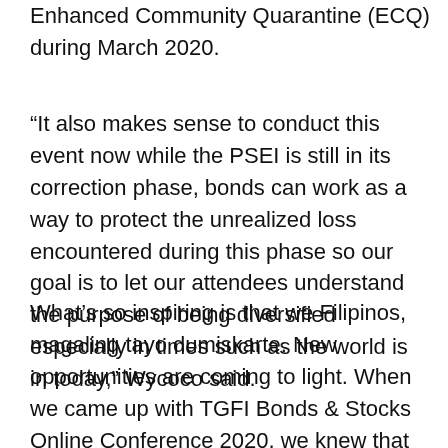Enhanced Community Quarantine (ECQ) during March 2020.
“It also makes sense to conduct this event now while the PSEI is still in its correction phase, bonds can work as a way to protect the unrealized loss encountered during this phase so our goal is to let our attendees understand the purpose of being diversified especially in times such as the world is in today,” Wycoco said.
What’s so inspiring is that we Filipinos, magaling tayo dumiskarte. New opportunities are coming to light. When we came up with TGFI Bonds & Stocks Online Conference 2020, we knew that this would be totally different from our past events that were either held at convention centers or at venues outside the country